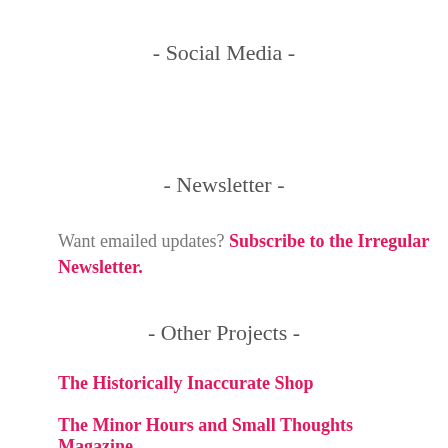- Social Media -
- Newsletter -
Want emailed updates? Subscribe to the Irregular Newsletter.
- Other Projects -
The Historically Inaccurate Shop
The Minor Hours and Small Thoughts Magazine